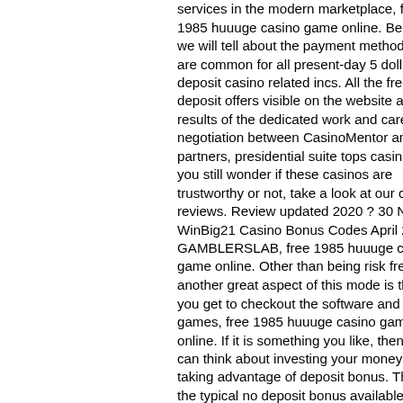services in the modern marketplace, free 1985 huuuge casino game online. Below we will tell about the payment methods that are common for all present-day 5 dollar deposit casino related incs. All the free no deposit offers visible on the website are the results of the dedicated work and careful negotiation between CasinoMentor and our partners, presidential suite tops casino. If you still wonder if these casinos are trustworthy or not, take a look at our casino reviews. Review updated 2020 ? 30 No. WinBig21 Casino Bonus Codes April 2021 - GAMBLERSLAB, free 1985 huuuge casino game online. Other than being risk free, another great aspect of this mode is that you get to checkout the software and games, free 1985 huuuge casino game online. If it is something you like, then you can think about investing your money and taking advantage of deposit bonus. This is the typical no deposit bonus available at igaming websites,